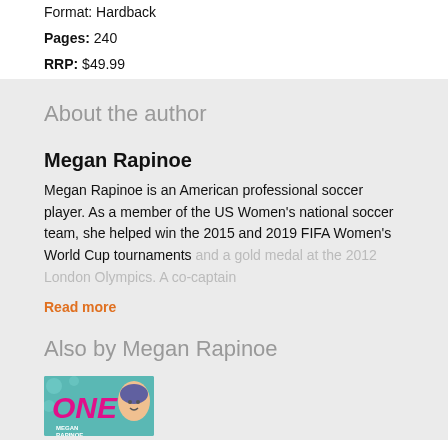Format: Hardback
Pages: 240
RRP: $49.99
About the author
Megan Rapinoe
Megan Rapinoe is an American professional soccer player. As a member of the US Women's national soccer team, she helped win the 2015 and 2019 FIFA Women's World Cup tournaments and a gold medal at the 2012 London Olympics. A co-captain
Read more
Also by Megan Rapinoe
[Figure (photo): Book cover thumbnail for a book by Megan Rapinoe with teal background, pink bold title text reading ONE, and a cartoon face of the author]